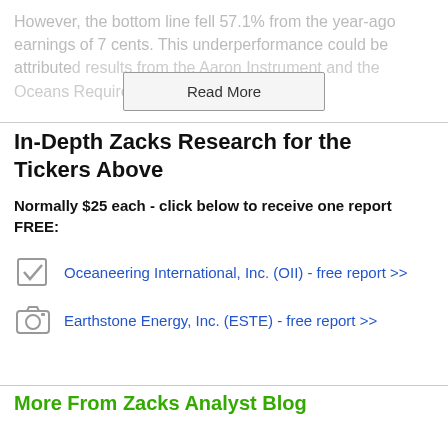However, the bottom line fell 57.1% from the year-ago earnings of 7 cents. This underperformance could be attributed to results from the Aaron Instrument and the Oceans Required calls.
Read More
In-Depth Zacks Research for the Tickers Above
Normally $25 each - click below to receive one report FREE:
Oceaneering International, Inc. (OII) - free report >>
Earthstone Energy, Inc. (ESTE) - free report >>
More From Zacks Analyst Blog